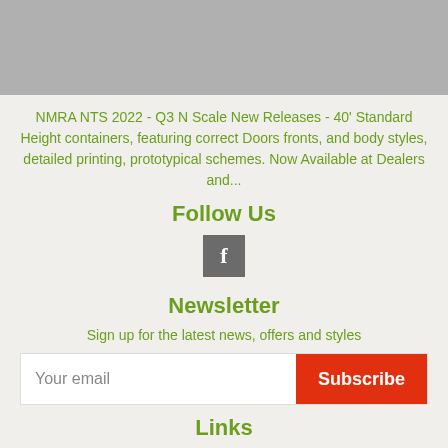[Figure (photo): Gray banner image at the top of the page]
NMRA NTS 2022 - Q3 N Scale New Releases - 40' Standard Height containers, featuring correct Doors fronts, and body styles, detailed printing, prototypical schemes. Now Available at Dealers and...
Follow Us
[Figure (logo): Facebook icon - dark gray square with white letter f]
Newsletter
Sign up for the latest news, offers and styles
Your email  Subscribe
Links